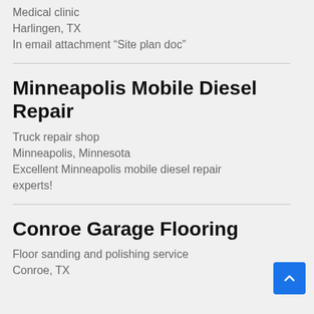Medical clinic
Harlingen, TX
In email attachment “Site plan doc”
Minneapolis Mobile Diesel Repair
Truck repair shop
Minneapolis, Minnesota
Excellent Minneapolis mobile diesel repair experts!
Conroe Garage Flooring
Floor sanding and polishing service
Conroe, TX